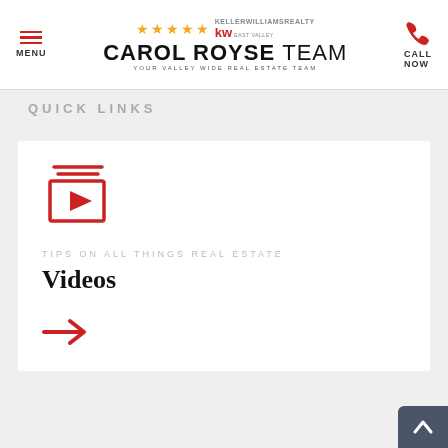[Figure (logo): Carol Royse Team logo with 5 gold stars and Keller Williams Realty East Valley branding]
QUICK LINKS
[Figure (illustration): Red video playlist icon (rectangle with play button and stacked lines above)]
TIPS ON ALL THINGS REAL ESTATE
Videos
[Figure (illustration): Red right arrow icon]